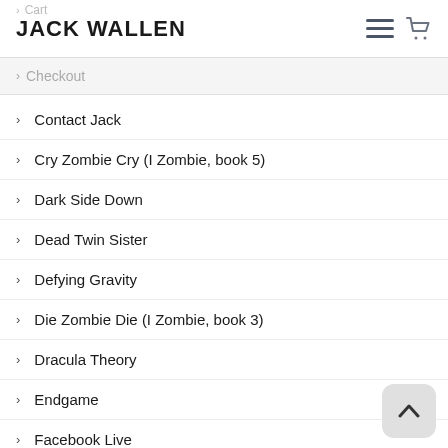JACK WALLEN
› Cart
› Checkout
› Contact Jack
› Cry Zombie Cry (I Zombie, book 5)
› Dark Side Down
› Dead Twin Sister
› Defying Gravity
› Die Zombie Die (I Zombie, book 3)
› Dracula Theory
› Endgame
› Facebook Live
› fEaR
› fEaR2
› fEaR3
› fEaR4
› For Whom The Reap Tolls